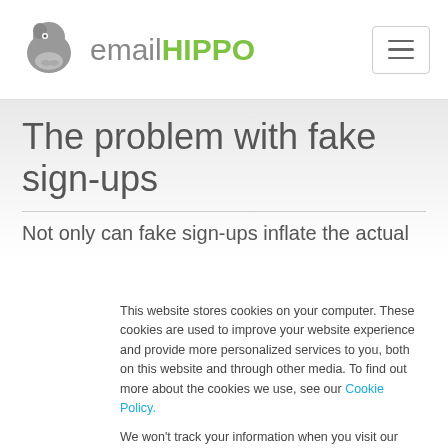email HIPPO
The problem with fake sign-ups
Not only can fake sign-ups inflate the actual
This website stores cookies on your computer. These cookies are used to improve your website experience and provide more personalized services to you, both on this website and through other media. To find out more about the cookies we use, see our Cookie Policy.
We won't track your information when you visit our site. But in order to comply with your preferences, we'll have to use just one tiny cookie so that you're not asked to make this choice again.